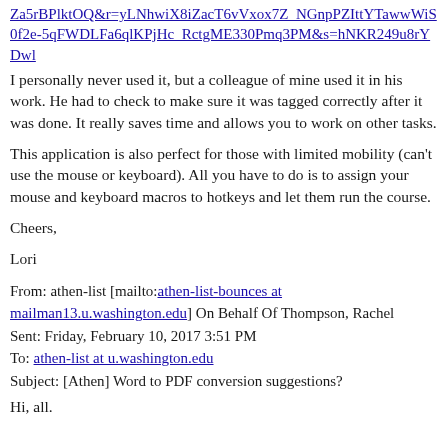Za5rBPlktOQ&r=yLNhwiX8iZacT6vVxox7Z_NGnpPZIttYTawwWiS0f2e-5qFWDLFa6qlKPjHc_RctgME330Pmq3PM&s=hNKR249u8rYDwl
I personally never used it, but a colleague of mine used it in his work. He had to check to make sure it was tagged correctly after it was done. It really saves time and allows you to work on other tasks.
This application is also perfect for those with limited mobility (can't use the mouse or keyboard). All you have to do is to assign your mouse and keyboard macros to hotkeys and let them run the course.
Cheers,
Lori
From: athen-list [mailto:athen-list-bounces at mailman13.u.washington.edu] On Behalf Of Thompson, Rachel
Sent: Friday, February 10, 2017 3:51 PM
To: athen-list at u.washington.edu
Subject: [Athen] Word to PDF conversion suggestions?
Hi, all.